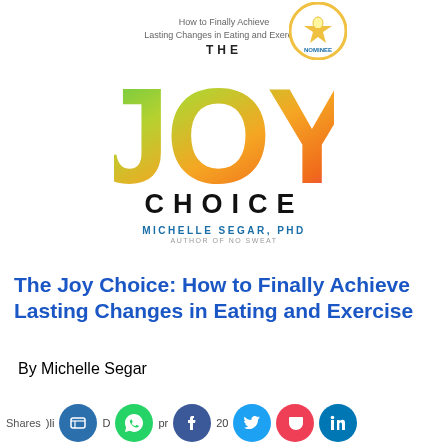[Figure (illustration): Book cover of 'The Joy Choice: How to Finally Achieve Lasting Changes in Eating and Exercise' by Michelle Segar, PhD. Large colorful JOY letters in gradient (green, yellow, orange, pink), CHOICE in black below, with a nominee badge top right.]
The Joy Choice: How to Finally Achieve Lasting Changes in Eating and Exercise
By Michelle Segar
Shares  [social share buttons] Dli  pr  202